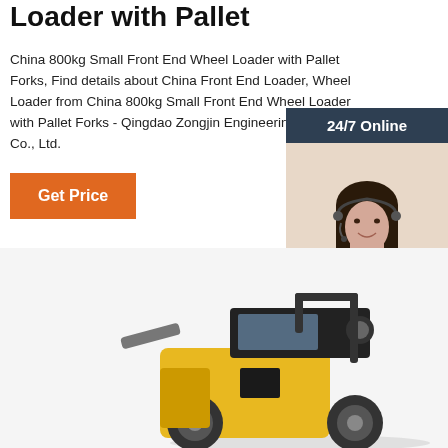Loader with Pallet
China 800kg Small Front End Wheel Loader with Pallet Forks, Find details about China Front End Loader, Wheel Loader from China 800kg Small Front End Wheel Loader with Pallet Forks - Qingdao Zongjin Engineering Machinery Co., Ltd.
Get Price
[Figure (photo): Customer service representative with headset, 24/7 Online chat panel with QUOTATION button]
[Figure (photo): Yellow small front end wheel loader machine, partial view showing cab and body]